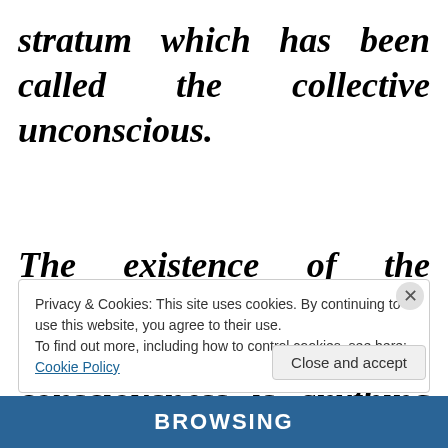stratum which has been called the collective unconscious.

The existence of the collective unconscious means that individual consciousness is anything but atabula
Privacy & Cookies: This site uses cookies. By continuing to use this website, you agree to their use.
To find out more, including how to control cookies, see here: Cookie Policy
Close and accept